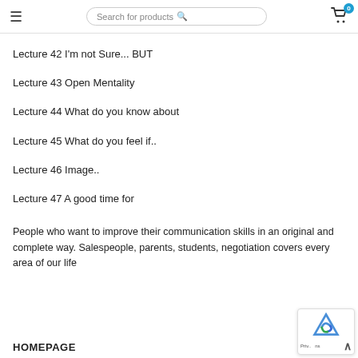Search for products
Lecture 42 I'm not Sure... BUT
Lecture 43 Open Mentality
Lecture 44 What do you know about
Lecture 45 What do you feel if..
Lecture 46 Image..
Lecture 47 A good time for
People who want to improve their communication skills in an original and complete way. Salespeople, parents, students, negotiation covers every area of our life
HOMEPAGE